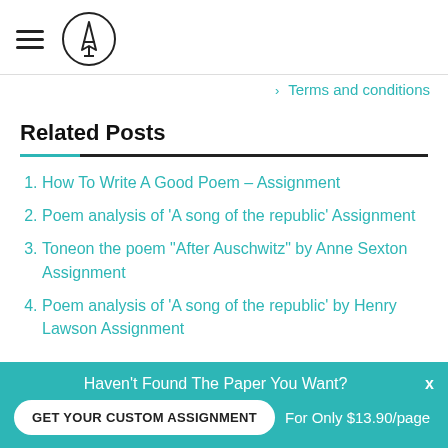> Terms and conditions
Related Posts
How To Write A Good Poem – Assignment
Poem analysis of 'A song of the republic' Assignment
Toneon the poem "After Auschwitz" by Anne Sexton Assignment
Poem analysis of 'A song of the republic' by Henry Lawson Assignment
Haven't Found The Paper You Want? GET YOUR CUSTOM ASSIGNMENT For Only $13.90/page